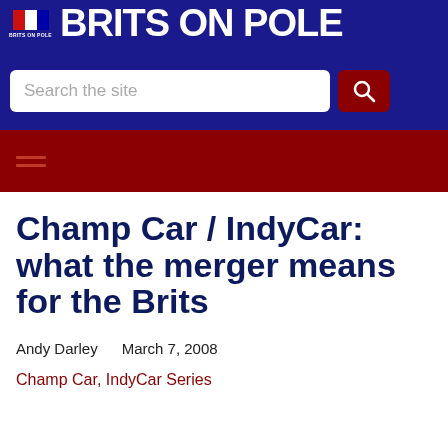BRITS ON POLE
Champ Car / IndyCar: what the merger means for the Brits
Andy Darley    March 7, 2008
Champ Car, IndyCar Series